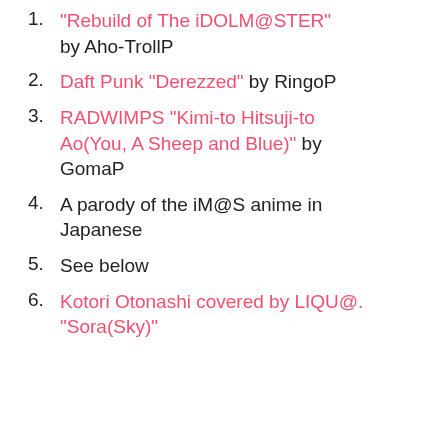"Rebuild of The iDOLM@STER" by Aho-TrollP
Daft Punk "Derezzed" by RingoP
RADWIMPS "Kimi-to Hitsuji-to Ao(You, A Sheep and Blue)" by GomaP
A parody of the iM@S anime in Japanese
See below
Kotori Otonashi covered by LIQU@. "Sora(Sky)"